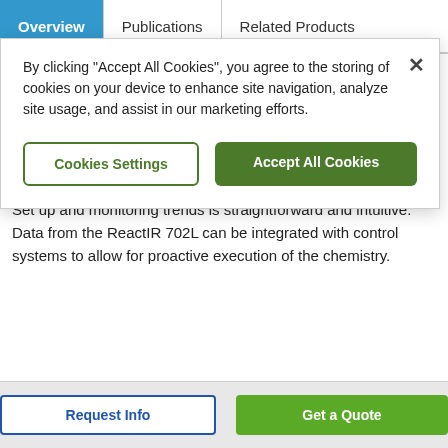Overview | Publications | Related Products
By clicking "Accept All Cookies", you agree to the storing of cookies on your device to enhance site navigation, analyze site usage, and assist in our marketing efforts.
Cookies Settings | Accept All Cookies
No Liquid Nitrogen Required
Infrared measurements can be made continually and unattended for as long as necessary to accommodate a synthesis.
iC IR 7 Software
Set up and monitoring trends is straightforward and intuitive. Data from the ReactIR 702L can be integrated with control systems to allow for proactive execution of the chemistry.
Request Info | Get a Quote